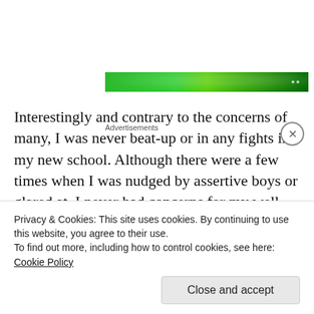[Figure (other): Advertisements banner — green gradient banner with white speckles and dots]
Interestingly and contrary to the concerns of many, I was never beat-up or in any fights in my new school. Although there were a few times when I was nudged by assertive boys or glared at, I never had concerns for my well-being and made friends in my new school. In particular, I became close friends with two young black boys in my 4th grade who looked out for me. We made an interesting trio on the campus of school. In addition to my close friends looking out
Privacy & Cookies: This site uses cookies. By continuing to use this website, you agree to their use.
To find out more, including how to control cookies, see here: Cookie Policy
Close and accept